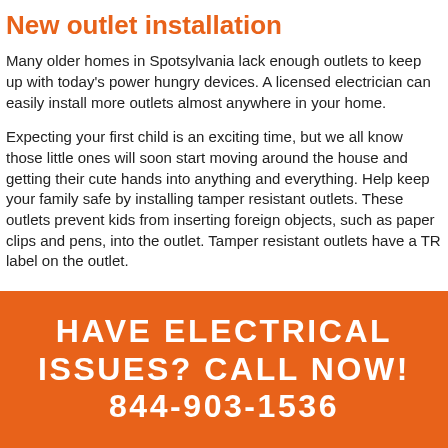New outlet installation
Many older homes in Spotsylvania lack enough outlets to keep up with today's power hungry devices. A licensed electrician can easily install more outlets almost anywhere in your home.
Expecting your first child is an exciting time, but we all know those little ones will soon start moving around the house and getting their cute hands into anything and everything. Help keep your family safe by installing tamper resistant outlets. These outlets prevent kids from inserting foreign objects, such as paper clips and pens, into the outlet. Tamper resistant outlets have a TR label on the outlet.
HAVE ELECTRICAL ISSUES? CALL NOW! 844-903-1536